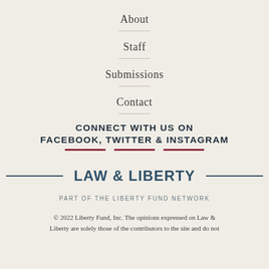About
Staff
Submissions
Contact
CONNECT WITH US ON FACEBOOK, TWITTER & INSTAGRAM
LAW & LIBERTY
PART OF THE LIBERTY FUND NETWORK
© 2022 Liberty Fund, Inc. The opinions expressed on Law & Liberty are solely those of the contributors to the site and do not